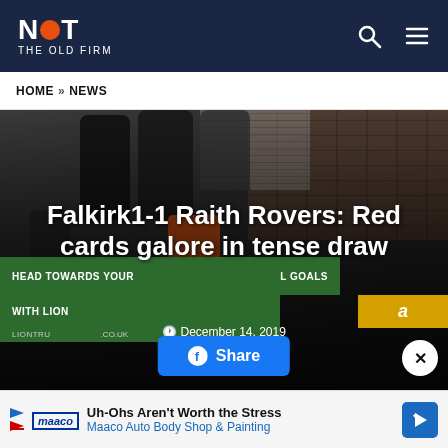NOT THE OLD FIRM
HOME » NEWS
[Figure (photo): A football match scene at an outdoor stadium at night with figures standing in the background and an orange-jacketed person in the foreground. A green advertising board reads 'HEAD TOWARDS YOUR GOALS WITH LION...' Title overlay: 'Falkirk 1-1 Raith Rovers: Red cards galore in tense draw'. Date: December 14, 2019. Author: James Black. A Facebook Share button is visible.]
Falkirk1-1 Raith Rovers: Red cards galore in tense draw
December 14, 2019
James Black
[Figure (other): Advertisement: Uh-Ohs Aren't Worth the Stress - Maaco Auto Body Shop & Painting]